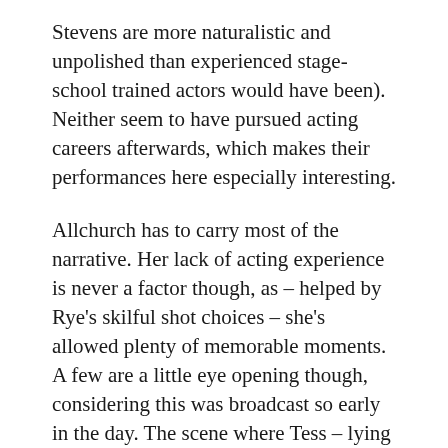Stevens are more naturalistic and unpolished than experienced stage-school trained actors would have been). Neither seem to have pursued acting careers afterwards, which makes their performances here especially interesting.
Allchurch has to carry most of the narrative. Her lack of acting experience is never a factor though, as – helped by Rye's skilful shot choices – she's allowed plenty of memorable moments. A few are a little eye opening though, considering this was broadcast so early in the day. The scene where Tess – lying in the bath – decides to re-enact the moment when Abigail drowned (by slowly submerging herself in her bathwater) is a disturbing one. And the follow